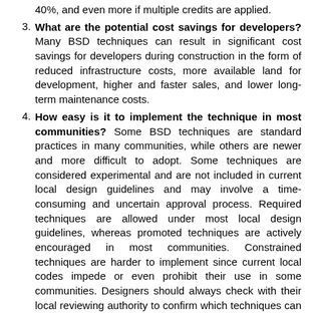40%, and even more if multiple credits are applied.
What are the potential cost savings for developers? Many BSD techniques can result in significant cost savings for developers during construction in the form of reduced infrastructure costs, more available land for development, higher and faster sales, and lower long-term maintenance costs.
How easy is it to implement the technique in most communities? Some BSD techniques are standard practices in many communities, while others are newer and more difficult to adopt. Some techniques are considered experimental and are not included in current local design guidelines and may involve a time-consuming and uncertain approval process. Required techniques are allowed under most local design guidelines, whereas promoted techniques are actively encouraged in most communities. Constrained techniques are harder to implement since current local codes impede or even prohibit their use in some communities. Designers should always check with their local reviewing authority to confirm which techniques can be used.
What is the most appropriate land use for the